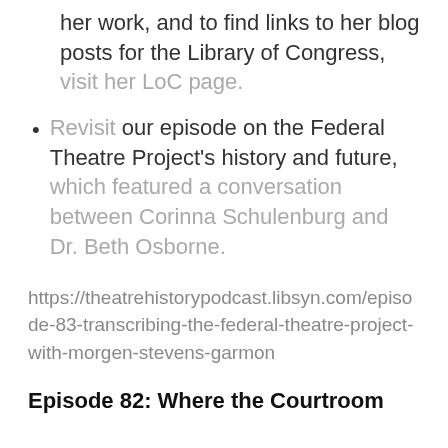her work, and to find links to her blog posts for the Library of Congress, visit her LoC page.
Revisit our episode on the Federal Theatre Project's history and future, which featured a conversation between Corinna Schulenburg and Dr. Beth Osborne.
https://theatrehistorypodcast.libsyn.com/episode-83-transcribing-the-federal-theatre-project-with-morgen-stevens-garmon
Episode 82: Where the Courtroom